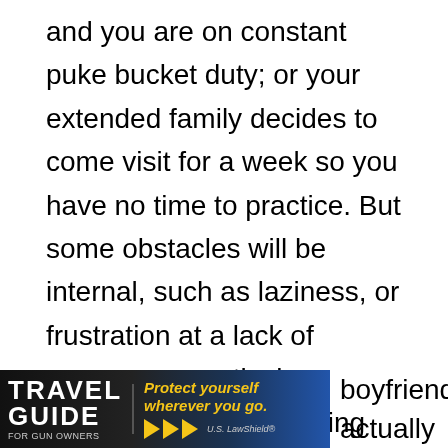and you are on constant puke bucket duty; or your extended family decides to come visit for a week so you have no time to practice. But some obstacles will be internal, such as laziness, or frustration at a lack of progress, or actively choosing to do something else that you feel is more important at the time. These CAN be avoided — even preempted! — and can be overcome. I keep my reloading pants in the basement because I know myself too well. So I have done whatever I can to remove any excuses that would stand in the way of me
[Figure (other): Advertisement banner for 'Travel Guide for Gun Owners' featuring US LawShield. Dark background with orange/gold text reading 'Protect yourself wherever you go.' with play button arrows.]
boyfriend actually